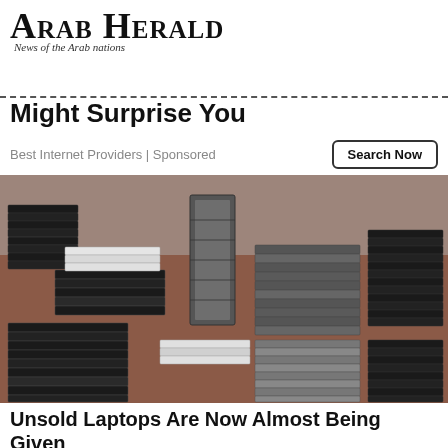Arab Herald — News of the Arab nations
Might Surprise You
Best Internet Providers | Sponsored
[Figure (photo): Large pile of stacked unsold laptops in various colors (black, gray, white, silver) arranged on a reddish-brown floor in a warehouse or storage room.]
Unsold Laptops Are Now Almost Being Given